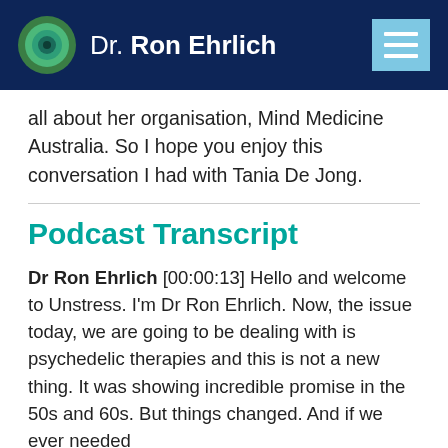Dr. Ron Ehrlich
all about her organisation, Mind Medicine Australia. So I hope you enjoy this conversation I had with Tania De Jong.
Podcast Transcript
Dr Ron Ehrlich [00:00:13] Hello and welcome to Unstress. I'm Dr Ron Ehrlich. Now, the issue today, we are going to be dealing with is psychedelic therapies and this is not a new thing. It was showing incredible promise in the 50s and 60s. But things changed. And if we ever needed